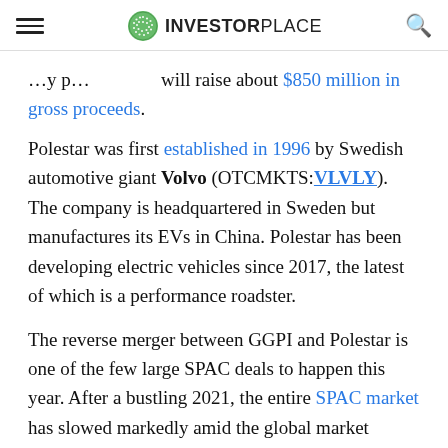INVESTORPLACE
will raise about $850 million in gross proceeds.
Polestar was first established in 1996 by Swedish automotive giant Volvo (OTCMKTS:VLVLY). The company is headquartered in Sweden but manufactures its EVs in China. Polestar has been developing electric vehicles since 2017, the latest of which is a performance roadster.
The reverse merger between GGPI and Polestar is one of the few large SPAC deals to happen this year. After a bustling 2021, the entire SPAC market has slowed markedly amid the global market downturn. Last year, a